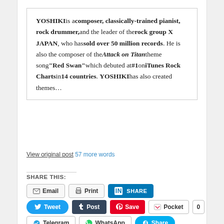YOSHIKI is a composer, classically-trained pianist, rock drummer, and the leader of the rock group X JAPAN, who has sold over 50 million records. He is also the composer of the Attack on Titan theme song "Red Swan" which debuted at #1 on iTunes Rock Charts in 14 countries. YOSHIKI has also created themes…
View original post 57 more words
SHARE THIS:
[Figure (other): Social sharing buttons: Email, Print, LinkedIn Share, Tweet, Post (Tumblr), Save (Pinterest), Pocket (0), Telegram, WhatsApp, Share (Skype)]